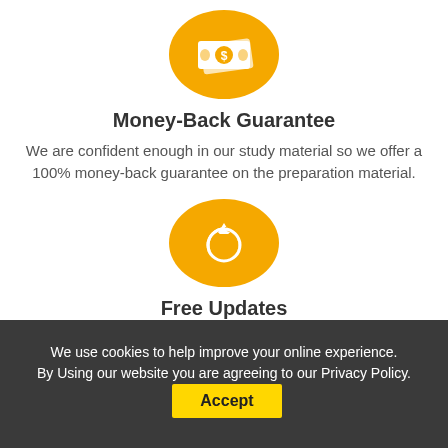[Figure (illustration): Orange circle with white money/cash bill icon featuring a dollar sign]
Money-Back Guarantee
We are confident enough in our study material so we offer a 100% money-back guarantee on the preparation material.
[Figure (illustration): Orange circle with white circular refresh/reset arrow icon with a downward-pointing triangle]
Free Updates
We use cookies to help improve your online experience. By Using our website you are agreeing to our Privacy Policy. Accept